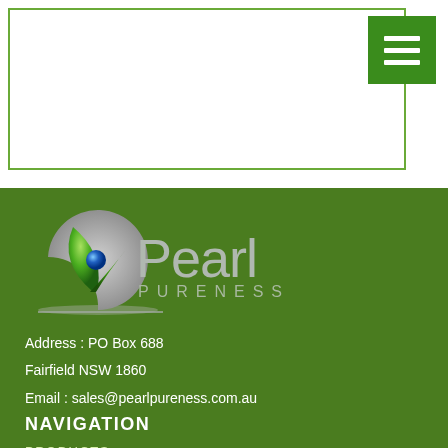[Figure (logo): Pearl Pureness logo with crescent moon shape, green leaf, blue pearl, and silver/gray text reading 'Pearl PURENESS']
Address : PO Box 688
Fairfield NSW 1860
Email : sales@pearlpureness.com.au
NAVIGATION
PRODUCTS